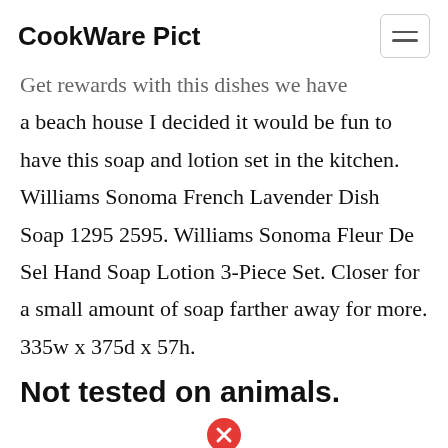CookWare Pict
Get rewards with this dishes we have a beach house I decided it would be fun to have this soap and lotion set in the kitchen. Williams Sonoma French Lavender Dish Soap 1295 2595. Williams Sonoma Fleur De Sel Hand Soap Lotion 3-Piece Set. Closer for a small amount of soap farther away for more. 335w x 375d x 57h.
Not tested on animals.